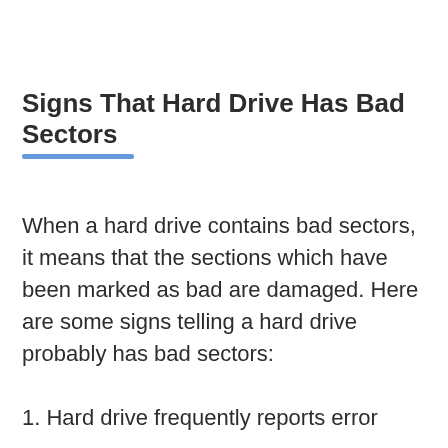Signs That Hard Drive Has Bad Sectors
When a hard drive contains bad sectors, it means that the sections which have been marked as bad are damaged. Here are some signs telling a hard drive probably has bad sectors:
1. Hard drive frequently reports error messages to say files are corrupted when you